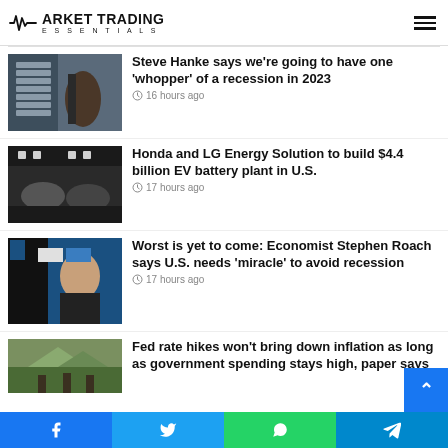Market Trading Essentials
[Figure (photo): Person shopping in grocery store aisle with shelves of products]
Steve Hanke says we’re going to have one ‘whopper’ of a recession in 2023
16 hours ago
[Figure (photo): Industrial factory interior with car bodies on assembly line]
Honda and LG Energy Solution to build $4.4 billion EV battery plant in U.S.
17 hours ago
[Figure (photo): Economist Stephen Roach speaking at a conference]
Worst is yet to come: Economist Stephen Roach says U.S. needs ‘miracle’ to avoid recession
17 hours ago
[Figure (photo): People standing in front of mountain landscape]
Fed rate hikes won’t bring down inflation as long as government spending stays high, paper says
Facebook | Twitter | WhatsApp | Telegram